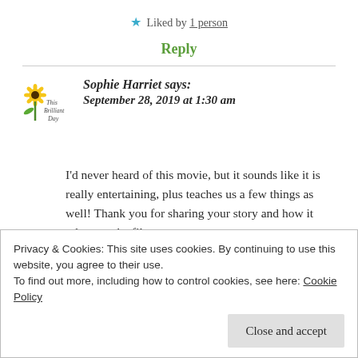★ Liked by 1 person
Reply
Sophie Harriet says:
September 28, 2019 at 1:30 am
I'd never heard of this movie, but it sounds like it is really entertaining, plus teaches us a few things as well! Thank you for sharing your story and how it relates to the film.
Privacy & Cookies: This site uses cookies. By continuing to use this website, you agree to their use.
To find out more, including how to control cookies, see here: Cookie Policy
Close and accept